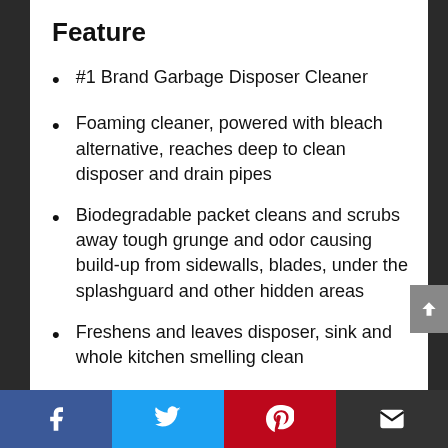Feature
#1 Brand Garbage Disposer Cleaner
Foaming cleaner, powered with bleach alternative, reaches deep to clean disposer and drain pipes
Biodegradable packet cleans and scrubs away tough grunge and odor causing build-up from sidewalls, blades, under the splashguard and other hidden areas
Freshens and leaves disposer, sink and whole kitchen smelling clean
Social sharing bar: Facebook, Twitter, Pinterest, Email